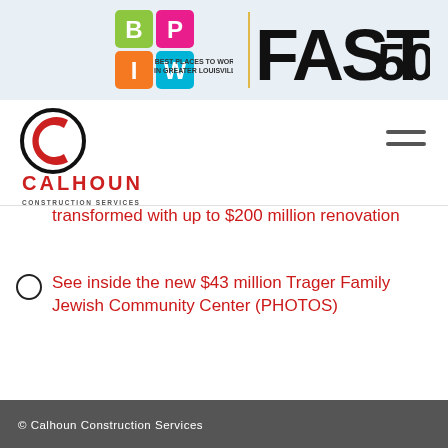[Figure (logo): BPIW Best Places to Work in Greater Louisville logo — colorful grid of B, P, I, W letters]
[Figure (logo): FAST 50 logo in bold black text with yellow vertical bar divider]
[Figure (logo): Calhoun Construction Services logo — red C in black circle, red CALHOUN text, grey subtitle CONSTRUCTION SERVICES]
transformed with up to $200 million renovation
See inside the new $43 million Trager Family Jewish Community Center (PHOTOS)
© Calhoun Construction Services